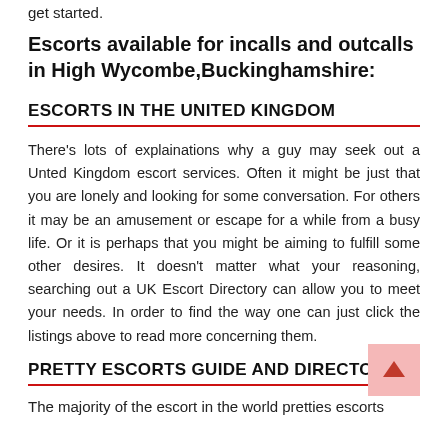get started.
Escorts available for incalls and outcalls in High Wycombe,Buckinghamshire:
ESCORTS IN THE UNITED KINGDOM
There's lots of explainations why a guy may seek out a Unted Kingdom escort services. Often it might be just that you are lonely and looking for some conversation. For others it may be an amusement or escape for a while from a busy life. Or it is perhaps that you might be aiming to fulfill some other desires. It doesn't matter what your reasoning, searching out a UK Escort Directory can allow you to meet your needs. In order to find the way one can just click the listings above to read more concerning them.
PRETTY ESCORTS GUIDE AND DIRECTORY:
The majority of the escort in the world pretties escorts